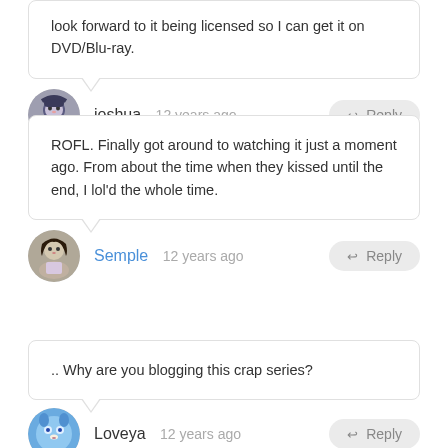look forward to it being licensed so I can get it on DVD/Blu-ray.
joshua  12 years ago
ROFL. Finally got around to watching it just a moment ago. From about the time when they kissed until the end, I lol'd the whole time.
Semple  12 years ago
.. Why are you blogging this crap series?
Loveya  12 years ago